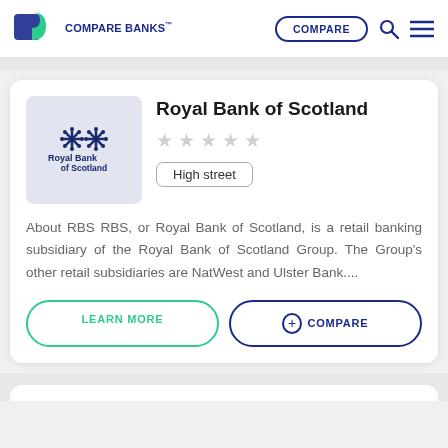Compare Banks™ | COMPARE
Royal Bank of Scotland
[Figure (logo): Royal Bank of Scotland logo with snowflake/asterisk icon and text 'Royal Bank of Scotland' on light blue-grey background]
High street
About RBS RBS, or Royal Bank of Scotland, is a retail banking subsidiary of the Royal Bank of Scotland Group. The Group's other retail subsidiaries are NatWest and Ulster Bank....
LEARN MORE | + COMPARE